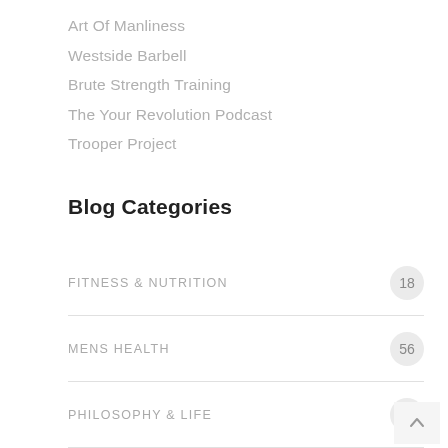Art Of Manliness
Westside Barbell
Brute Strength Training
The Your Revolution Podcast
Trooper Project
Blog Categories
FITNESS & NUTRITION  18
MENS HEALTH  56
PHILOSOPHY & LIFE  13
RANDOM STUFF  5
SIGNATURE WORKOUTS  13